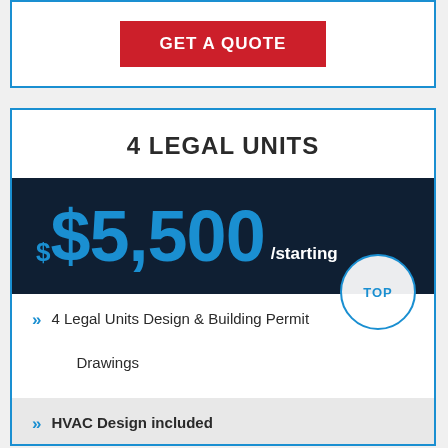[Figure (other): GET A QUOTE button in red inside a blue-bordered white card at top]
4 LEGAL UNITS
$$5,500 /starting
4 Legal Units Design & Building Permit Drawings
HVAC Design included